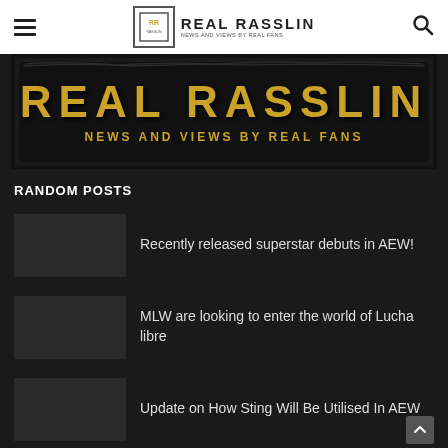Real Rasslin – News and Views by Real Fans
[Figure (logo): Real Rasslin banner logo with text REAL RASSLIN and NEWS AND VIEWS BY REAL FANS in gold on dark background with distressed border]
RANDOM POSTS
Recently released superstar debuts in AEW!
MLW are looking to enter the world of Lucha libre
Update on How Sting Will Be Utilised In AEW